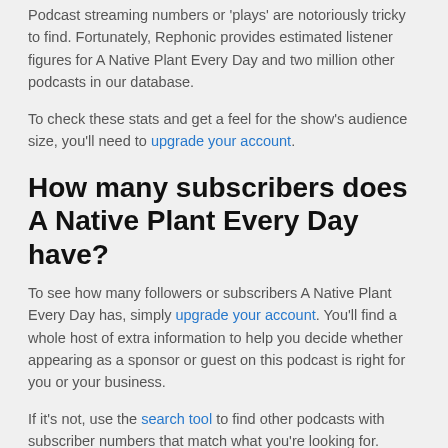Podcast streaming numbers or 'plays' are notoriously tricky to find. Fortunately, Rephonic provides estimated listener figures for A Native Plant Every Day and two million other podcasts in our database.
To check these stats and get a feel for the show's audience size, you'll need to upgrade your account.
How many subscribers does A Native Plant Every Day have?
To see how many followers or subscribers A Native Plant Every Day has, simply upgrade your account. You'll find a whole host of extra information to help you decide whether appearing as a sponsor or guest on this podcast is right for you or your business.
If it's not, use the search tool to find other podcasts with subscriber numbers that match what you're looking for.
How many listeners does A Native